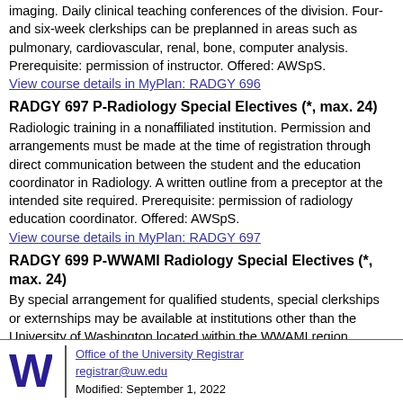imaging. Daily clinical teaching conferences of the division. Four- and six-week clerkships can be preplanned in areas such as pulmonary, cardiovascular, renal, bone, computer analysis. Prerequisite: permission of instructor. Offered: AWSpS.
View course details in MyPlan: RADGY 696
RADGY 697 P-Radiology Special Electives (*, max. 24)
Radiologic training in a nonaffiliated institution. Permission and arrangements must be made at the time of registration through direct communication between the student and the education coordinator in Radiology. A written outline from a preceptor at the intended site required. Prerequisite: permission of radiology education coordinator. Offered: AWSpS.
View course details in MyPlan: RADGY 697
RADGY 699 P-WWAMI Radiology Special Electives (*, max. 24)
By special arrangement for qualified students, special clerkships or externships may be available at institutions other than the University of Washington located within the WWAMI region. Prerequisite: permission of department.
View course details in MyPlan: RADGY 699
Office of the University Registrar
registrar@uw.edu
Modified: September 1, 2022